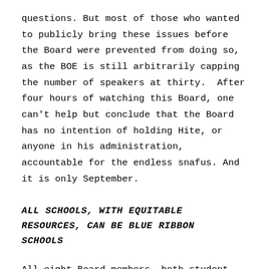questions. But most of those who wanted to publicly bring these issues before the Board were prevented from doing so, as the BOE is still arbitrarily capping the number of speakers at thirty.  After four hours of watching this Board, one can't help but conclude that the Board has no intention of holding Hite, or anyone in his administration, accountable for the endless snafus. And it is only September.
ALL SCHOOLS, WITH EQUITABLE RESOURCES, CAN BE BLUE RIBBON SCHOOLS
All eight Board members, both student representatives, and Superintendent Hite were